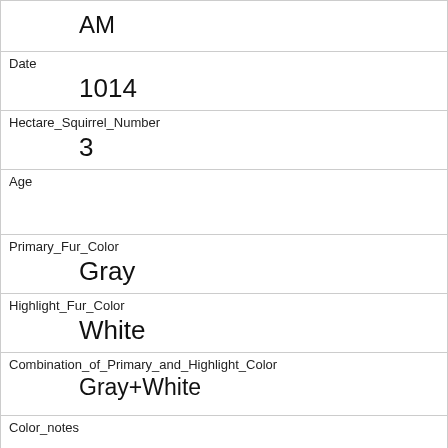| AM |  |
| Date | 1014 |
| Hectare_Squirrel_Number | 3 |
| Age |  |
| Primary_Fur_Color | Gray |
| Highlight_Fur_Color | White |
| Combination_of_Primary_and_Highlight_Color | Gray+White |
| Color_notes |  |
| Location | Ground Plane |
| Above_Ground_Sighter_Measurement | FALSE |
| Specific_Location |  |